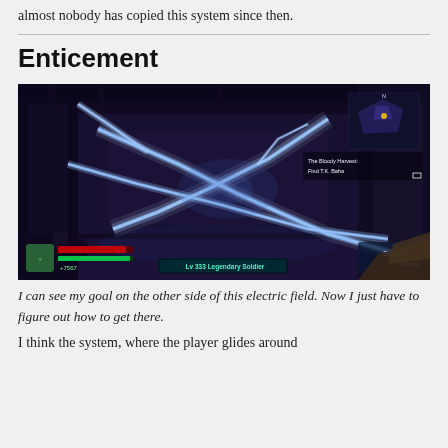almost nobody has copied this system since then.
Enticement
[Figure (screenshot): First-person view screenshot from a video game (Borderlands 2) showing blue electric lightning field crossing the room, with HUD elements including health bar, minimap, objective text, and weapon indicator at bottom.]
I can see my goal on the other side of this electric field. Now I just have to figure out how to get there.
I think the system, where the player glides around